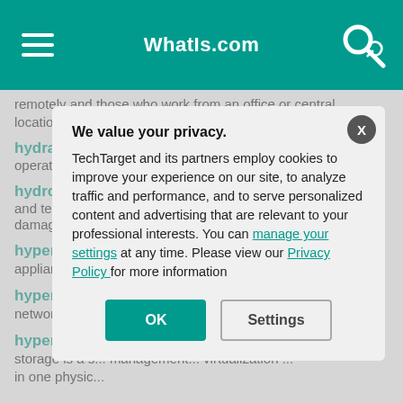WhatIs.com
remotely and those who work from an office or central location.
hydraulics - Hydraulics is a mechanical function that operates through the force of liquid pressure.
hydrofluorocarbon (HFC) clean agent - Data centers and telecom rooms use hydrofluorocarbon (HFC) clean agents to suppress fire without damaging electronic equipment.
hyper-conv... appliance is a... data center m... box.
hyper-conv... network is a n... storage netw... stack, server...
hyper-conv... storage is a s... management... virtualization ... in one physic...
We value your privacy.
TechTarget and its partners employ cookies to improve your experience on our site, to analyze traffic and performance, and to serve personalized content and advertising that are relevant to your professional interests. You can manage your settings at any time. Please view our Privacy Policy for more information